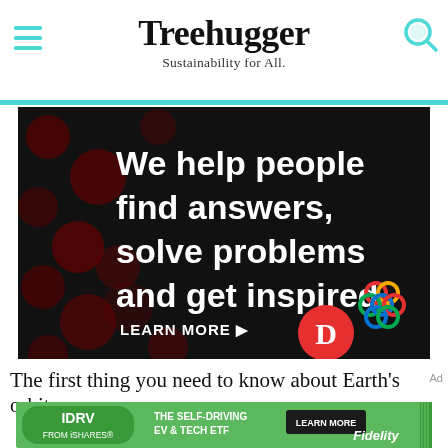Treehugger — Sustainability for All.
[Figure (infographic): Advertisement banner: dark background with dark red bokeh circles pattern. White bold text reads 'We help people find answers, solve problems and get inspired.' with a red period. Below: 'LEARN MORE ▶' in white. Bottom right: a red circle with 'D' letter logo and a colorful interlocked circles logo. Dotdash Meredith ad.]
The first thing you need to know about Earth's orbit
[Figure (infographic): Advertisement banner: green background. 'IDRV FROM iSHARES.' on left in white text with rounded green box. Center: 'THE SELF-DRIVING EV & TECH ETF'. Right: 'LEARN MORE' button in dark, 'Fidelity' logo in white italic. Green striped border on right edge.]